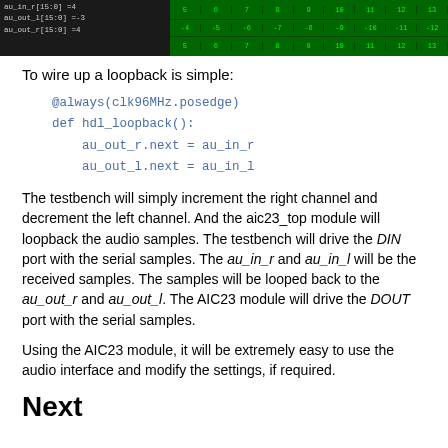[Figure (screenshot): Waveform/timing diagram showing signal values: au_in_r[15:0]=4, au_out_l[15:0]=-3, au_out_r[15:0]=4 on left panel; green table grid with numeric values on right panel]
To wire up a loopback is simple:
The testbench will simply increment the right channel and decrement the left channel. And the aic23_top module will loopback the audio samples. The testbench will drive the DIN port with the serial samples. The au_in_r and au_in_l will be the received samples. The samples will be looped back to the au_out_r and au_out_l. The AIC23 module will drive the DOUT port with the serial samples.
Using the AIC23 module, it will be extremely easy to use the audio interface and modify the settings, if required.
Next